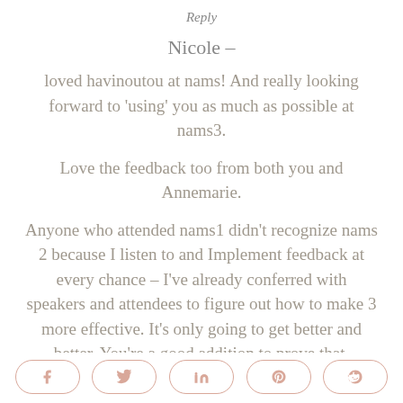Reply
Nicole –
loved havinoutou at nams! And really looking forward to 'using' you as much as possible at nams3.
Love the feedback too from both you and Annemarie.
Anyone who attended nams1 didn't recognize nams 2 because I listen to and Implement feedback at every chance – I've already conferred with speakers and attendees to figure out how to make 3 more effective. It's only going to get better and better. You're a good addition to prove that.
Looking forward to talking to seeing you again. It's
[Figure (other): Social sharing buttons row: Facebook, Twitter, LinkedIn, Pinterest, Reddit]